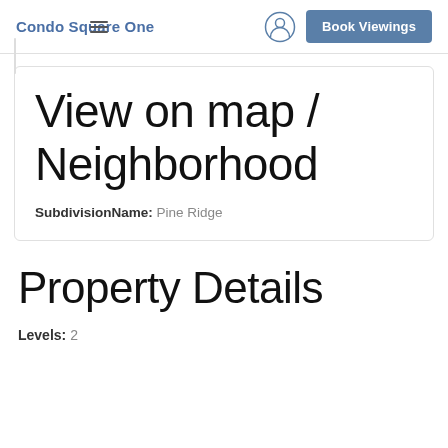Condo Square One
View on map / Neighborhood
SubdivisionName: Pine Ridge
Property Details
Levels: 2